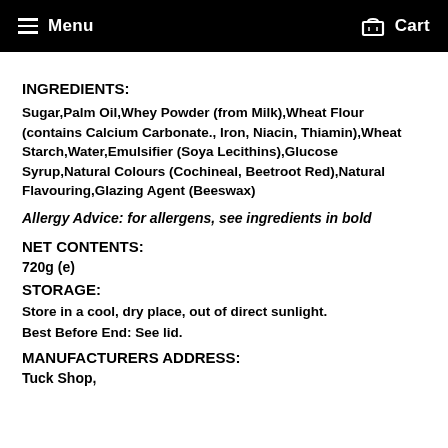Menu   Cart
INGREDIENTS:
Sugar,Palm Oil,Whey Powder (from Milk),Wheat Flour (contains Calcium Carbonate., Iron, Niacin, Thiamin),Wheat Starch,Water,Emulsifier (Soya Lecithins),Glucose Syrup,Natural Colours (Cochineal, Beetroot Red),Natural Flavouring,Glazing Agent (Beeswax)
Allergy Advice: for allergens, see ingredients in bold
NET CONTENTS:
720g (e)
STORAGE:
Store in a cool, dry place, out of direct sunlight.
Best Before End: See lid.
MANUFACTURERS ADDRESS:
Tuck Shop,